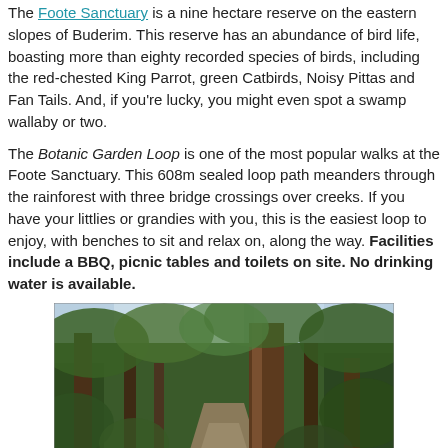The Foote Sanctuary is a nine hectare reserve on the eastern slopes of Buderim. This reserve has an abundance of bird life, boasting more than eighty recorded species of birds, including the red-chested King Parrot, green Catbirds, Noisy Pittas and Fan Tails. And, if you're lucky, you might even spot a swamp wallaby or two.
The Botanic Garden Loop is one of the most popular walks at the Foote Sanctuary. This 608m sealed loop path meanders through the rainforest with three bridge crossings over creeks. If you have your littlies or grandies with you, this is the easiest loop to enjoy, with benches to sit and relax on, along the way. Facilities include a BBQ, picnic tables and toilets on site. No drinking water is available.
[Figure (photo): Photo of a rainforest path through tall trees at Foote Sanctuary, Buderim. Sunlight filters through the canopy. A large tree trunk is prominent in the center-right.]